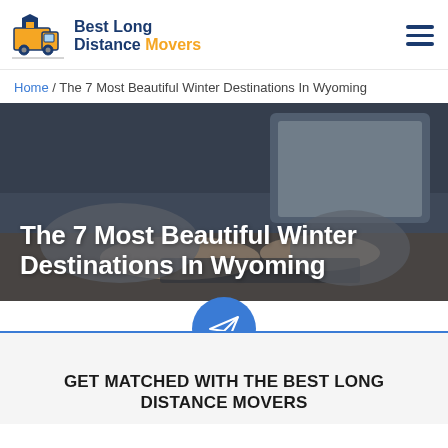[Figure (logo): Best Long Distance Movers logo with moving truck icon]
Home / The 7 Most Beautiful Winter Destinations In Wyoming
[Figure (photo): Person typing on laptop, dark moody photo with overlay]
The 7 Most Beautiful Winter Destinations In Wyoming
[Figure (illustration): Blue circle with paper airplane icon above CTA section]
GET MATCHED WITH THE BEST LONG DISTANCE MOVERS